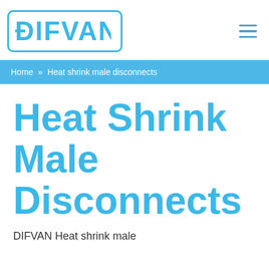[Figure (logo): DIFVAN logo in a rounded rectangle border with cyan/blue color]
Home » Heat shrink male disconnects
Heat Shrink Male Disconnects
DIFVAN Heat shrink male